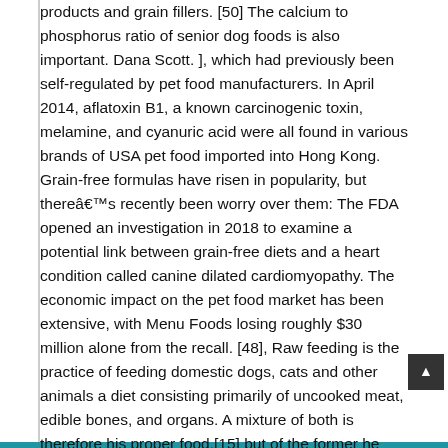products and grain fillers. [50] The calcium to phosphorus ratio of senior dog foods is also important. Dana Scott. ], which had previously been self-regulated by pet food manufacturers. In April 2014, aflatoxin B1, a known carcinogenic toxin, melamine, and cyanuric acid were all found in various brands of USA pet food imported into Hong Kong. Grain-free formulas have risen in popularity, but thereâs recently been worry over them: The FDA opened an investigation in 2018 to examine a potential link between grain-free diets and a heart condition called canine dilated cardiomyopathy. The economic impact on the pet food market has been extensive, with Menu Foods losing roughly $30 million alone from the recall. [48], Raw feeding is the practice of feeding domestic dogs, cats and other animals a diet consisting primarily of uncooked meat, edible bones, and organs. A mixture of both is therefore his proper food,[15] but of the former he requires a greater portion,